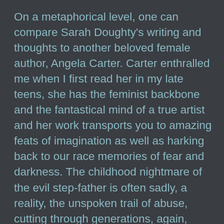On a metaphorical level, one can compare Sarah Doughty's writing and thoughts to another beloved female author, Angela Carter. Carter enthralled me when I first read her in my late teens, she has the feminist backbone and the fantastical mind of a true artist and her work transports you to amazing feats of imagination as well as harking back to our race memories of fear and darkness. The childhood nightmare of the evil step-father is often sadly, a reality, the unspoken trail of abuse, cutting through generations, again, really happens. And where once we wove these realities into fantasy to hide the truth of them, now we can create say, a witch-hunter and a murderer both, and also see the real-life equivalent t in that treatment of